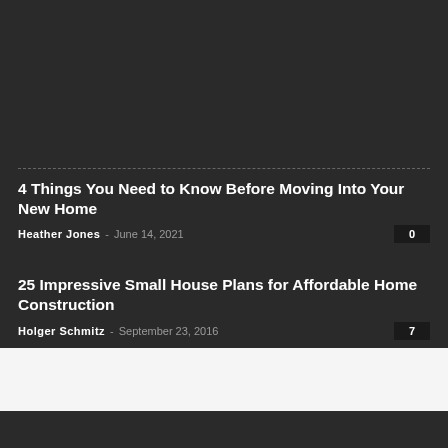4 Things You Need to Know Before Moving Into Your New Home
Heather Jones - June 14, 2021 · 0
25 Impressive Small House Plans for Affordable Home Construction
Holger Schmitz - September 23, 2016 · 7